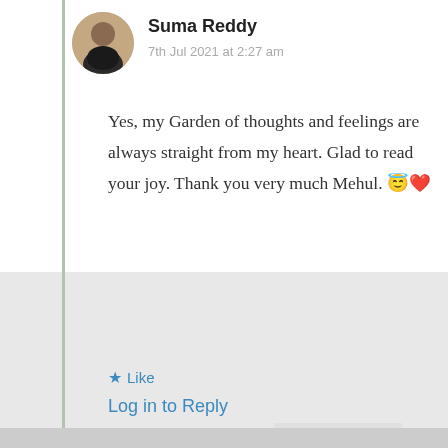[Figure (photo): Circular avatar photo of Suma Reddy, a woman with dark hair]
Suma Reddy
7th Jul 2021 at 2:27 am
Yes, my Garden of thoughts and feelings are always straight from my heart. Glad to read your joy. Thank you very much Mehul. 😇❤
★ Like
Log in to Reply
Privacy & Cookies: This site uses cookies. By continuing to use this website, you agree to their use.
To find out more, including how to control cookies, see here: Cookie Policy
Close and accept